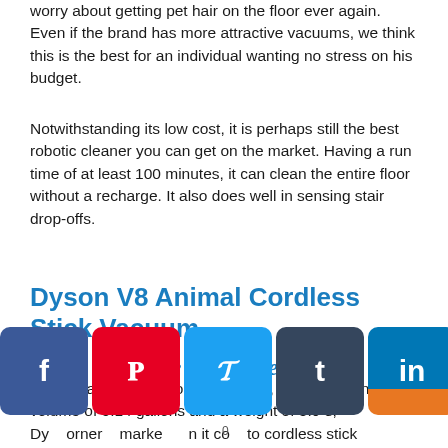worry about getting pet hair on the floor ever again. Even if the brand has more attractive vacuums, we think this is the best for an individual wanting no stress on his budget.
Notwithstanding its low cost, it is perhaps still the best robotic cleaner you can get on the market. Having a run time of at least 100 minutes, it can clean the entire floor without a recharge. It also does well in sensing stair drop-offs.
Dyson V8 Animal Cordless Stick Vacuum
Please share the love.
With an absence of cord (cordless), a bagless bin type volume of 0.14 gallons and a weight of 5.9 s, Dy orner marke n it co to cordless stick vacuums, with good reason. model is featured in pretty much every "best